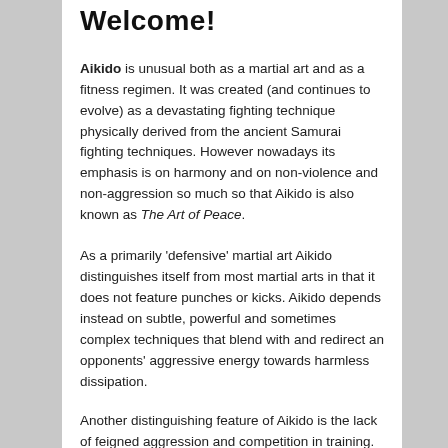Welcome!
Aikido is unusual both as a martial art and as a fitness regimen. It was created (and continues to evolve) as a devastating fighting technique physically derived from the ancient Samurai fighting techniques. However nowadays its emphasis is on harmony and on non-violence and non-aggression so much so that Aikido is also known as The Art of Peace.
As a primarily ‘defensive’ martial art Aikido distinguishes itself from most martial arts in that it does not feature punches or kicks. Aikido depends instead on subtle, powerful and sometimes complex techniques that blend with and redirect an opponents’ aggressive energy towards harmless dissipation.
Another distinguishing feature of Aikido is the lack of feigned aggression and competition in training. Aikido training, by contrast, evolves in an environment of cooperation and assistance – an environment that